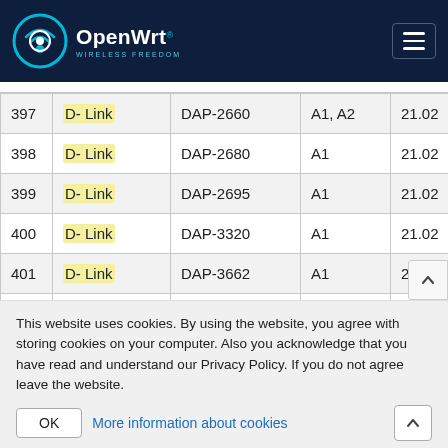OpenWrt - Wireless Freedom
| # | Brand | Model | Ver. |  |
| --- | --- | --- | --- | --- |
| 397 | D-Link | DAP-2660 | A1, A2 | 21.02 |
| 398 | D-Link | DAP-2680 | A1 | 21.02 |
| 399 | D-Link | DAP-2695 | A1 | 21.02 |
| 400 | D-Link | DAP-3320 | A1 | 21.02 |
| 401 | D-Link | DAP-3662 | A1 | 21.02 |
| 402 | D-Link | DAP-1350 | A1 |  |
| 403 | D-Link | DCH-G020 | A1 |  |
This website uses cookies. By using the website, you agree with storing cookies on your computer. Also you acknowledge that you have read and understand our Privacy Policy. If you do not agree leave the website.